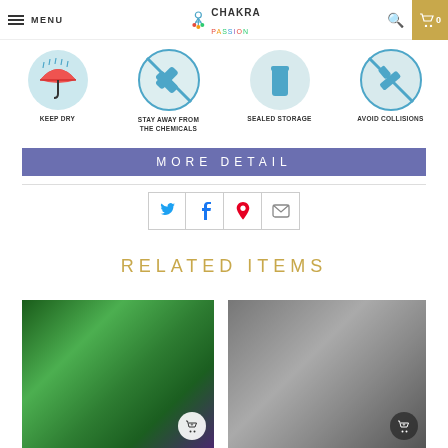MENU | CHAKRA PASSION | Search | Cart 0
[Figure (infographic): Four care instruction icons: Keep Dry (umbrella), Stay Away From The Chemicals (crossed bandage), Sealed Storage (jar), Avoid Collisions (crossed hammer)]
MORE DETAIL
[Figure (infographic): Social share buttons: Twitter, Facebook, Pinterest, Email]
RELATED ITEMS
[Figure (photo): Product thumbnail with green background, add to cart button]
[Figure (photo): Product thumbnail with grey background, add to cart button]